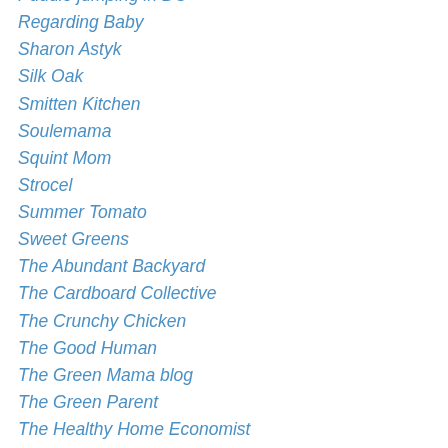Puddle jumping in DC
Regarding Baby
Sharon Astyk
Silk Oak
Smitten Kitchen
Soulemama
Squint Mom
Strocel
Summer Tomato
Sweet Greens
The Abundant Backyard
The Cardboard Collective
The Crunchy Chicken
The Good Human
The Green Mama blog
The Green Parent
The Healthy Home Economist
The Kitchn
The Lazy Homesteader